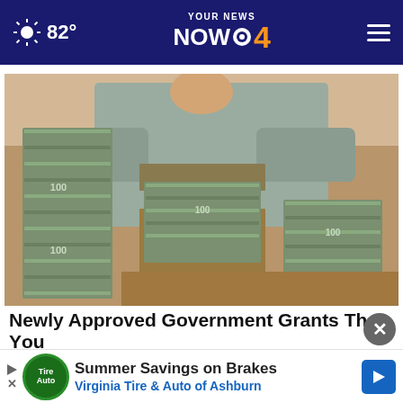82° YOUR NEWS NOW 4
[Figure (photo): Person in grey outfit standing behind a desk covered with large stacks of bundled currency (US dollar bills), with more stacks on the left. Room appears to be an office or storage space.]
Newly Approved Government Grants That You Don't Have to Pay Back
Free M...
Summer Savings on Brakes
Virginia Tire & Auto of Ashburn